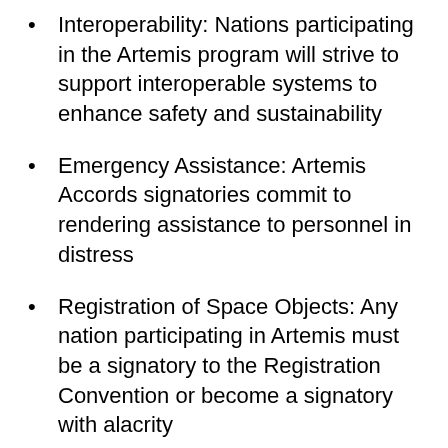Interoperability: Nations participating in the Artemis program will strive to support interoperable systems to enhance safety and sustainability
Emergency Assistance: Artemis Accords signatories commit to rendering assistance to personnel in distress
Registration of Space Objects: Any nation participating in Artemis must be a signatory to the Registration Convention or become a signatory with alacrity
Release of Scientific Data: Artemis Accords signatories commit to the public release of scientific information, allowing the whole world to join us on the Artemis journey